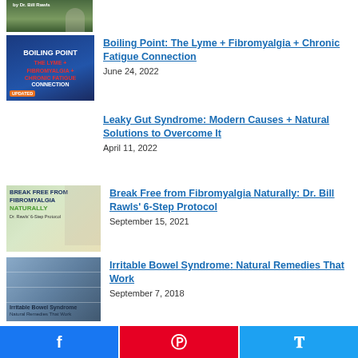[Figure (photo): Partial thumbnail at top of page, cropped garden/outdoor scene with 'by Dr. Bill Rawls' text]
[Figure (photo): Book cover thumbnail: Boiling Point - The Lyme + Fibromyalgia + Chronic Fatigue Connection, blue background with orange accent]
Boiling Point: The Lyme + Fibromyalgia + Chronic Fatigue Connection
June 24, 2022
Leaky Gut Syndrome: Modern Causes + Natural Solutions to Overcome It
April 11, 2022
[Figure (photo): Thumbnail image: Break Free from Fibromyalgia Naturally - Dr. Bill Rawls' 6-Step Protocol, woman smiling outdoors]
Break Free from Fibromyalgia Naturally: Dr. Bill Rawls’ 6-Step Protocol
September 15, 2021
[Figure (photo): Thumbnail image: Irritable Bowel Syndrome - Natural Remedies That Work, blue/grey grid background]
Irritable Bowel Syndrome: Natural Remedies That Work
September 7, 2018
Share buttons: Facebook, Pinterest, Twitter